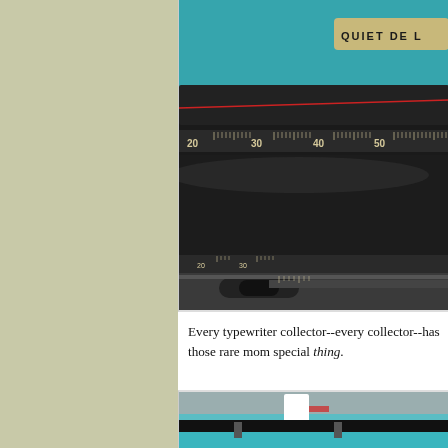[Figure (photo): Close-up photograph of a teal/turquoise typewriter showing the platen roller, paper guide scale with numbers 20, 30, 40, 50, and a label reading 'QUIET DE L' on the teal body]
Every typewriter collector--every collector--has those rare mom special thing.
[Figure (photo): Partial photograph of a teal/turquoise typewriter showing the top portion with white and black mechanical parts visible]